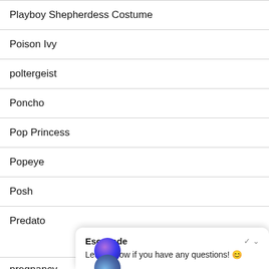Playboy Shepherdess Costume
Poison Ivy
poltergeist
Poncho
Pop Princess
Popeye
Posh
Predato
pregnancy
Escapade
Let us know if you have any questions! 😊